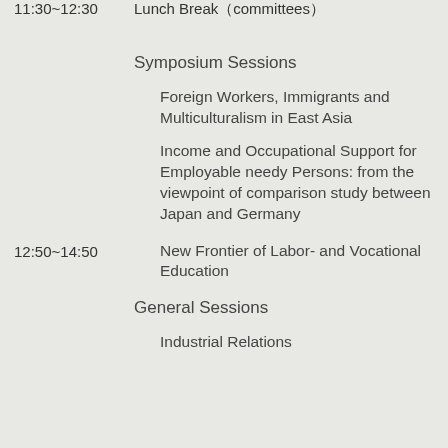11:30~12:30   Lunch Break（committees）
Symposium Sessions
Foreign Workers, Immigrants and Multiculturalism in East Asia
Income and Occupational Support for Employable needy Persons: from the viewpoint of comparison study between Japan and Germany
12:50~14:50   New Frontier of Labor- and Vocational Education
General Sessions
Industrial Relations